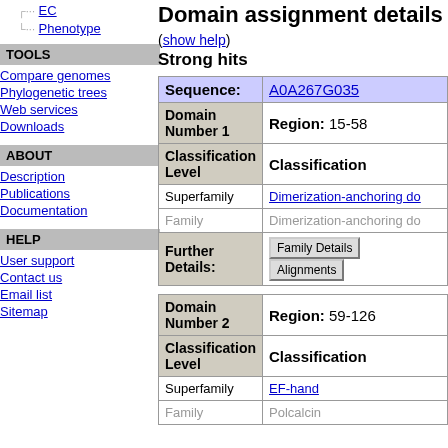EC
Phenotype
TOOLS
Compare genomes
Phylogenetic trees
Web services
Downloads
ABOUT
Description
Publications
Documentation
HELP
User support
Contact us
Email list
Sitemap
Domain assignment details
(show help)
Strong hits
| Sequence: | A0A267G035 |
| --- | --- |
| Domain Number 1 | Region: 15-58 |
| Classification Level | Classification |
| Superfamily | Dimerization-anchoring do... |
| Family | Dimerization-anchoring do... |
| Further Details: | Family Details   Alignments |
| Domain Number 2 | Region: 59-126 |
| Classification Level | Classification |
| Superfamily | EF-hand |
| Family | Polcalcin |